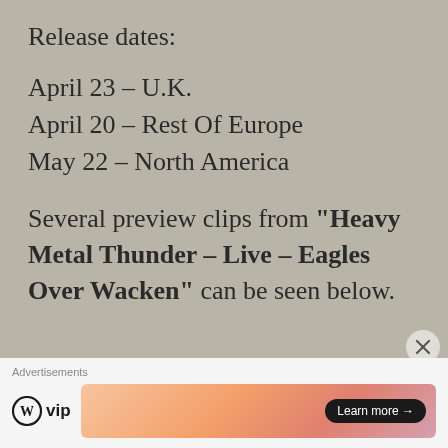Release dates:
April 23 – U.K.
April 20 – Rest Of Europe
May 22 – North America
Several preview clips from "Heavy Metal Thunder – Live – Eagles Over Wacken" can be seen below.
Advertisements
[Figure (logo): WordPress VIP logo with circular W icon and 'vip' text]
[Figure (other): Advertisement banner with gradient orange/pink background and 'Learn more →' button]